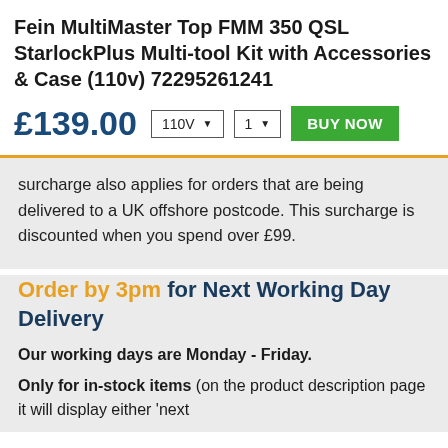Fein MultiMaster Top FMM 350 QSL StarlockPlus Multi-tool Kit with Accessories & Case (110v) 72295261241
£139.00  110V ▼  1 ▼  BUY NOW
surcharge also applies for orders that are being delivered to a UK offshore postcode. This surcharge is discounted when you spend over £99.
Order by 3pm for Next Working Day Delivery
Our working days are Monday - Friday.
Only for in-stock items (on the product description page it will display either 'next